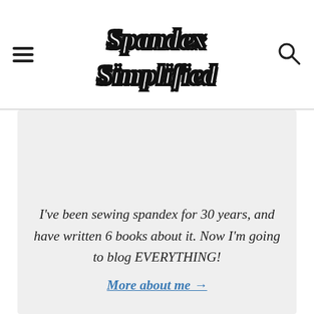Spandex Simplified
I've been sewing spandex for 30 years, and have written 6 books about it. Now I'm going to blog EVERYTHING!
More about me →